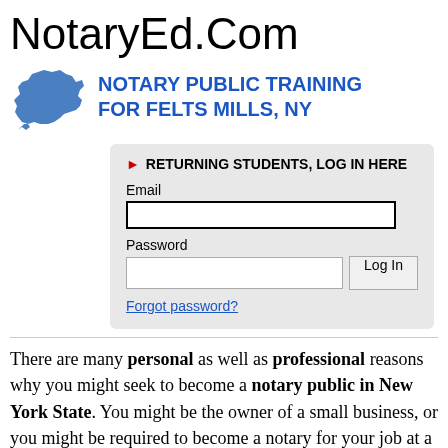NotaryEd.Com
NOTARY PUBLIC TRAINING FOR FELTS MILLS, NY
RETURNING STUDENTS, LOG IN HERE
Email
Password
Forgot password?
There are many personal as well as professional reasons why you might seek to become a notary public in New York State. You might be the owner of a small business, or you might be required to become a notary for your job at a